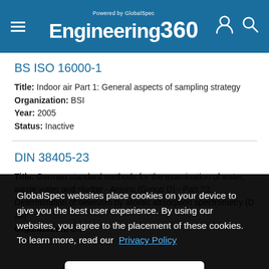Engineering 360 — Powered by GlobalSpec
BS ISO 16000-1
Title: Indoor air Part 1: General aspects of sampling strategy
Organization: BSI
Year: 2005
Status: Inactive
DIN 38405-23
Title: German standard methods for the examination of water, waste water and sludge - Anions (Group D) - Part 23: Determination of selenium by atomic absorption spectrometry (D 23)
Organization: DIN
Year: 1994
GlobalSpec websites place cookies on your device to give you the best user experience. By using our websites, you agree to the placement of these cookies. To learn more, read our Privacy Policy
Accept & Close